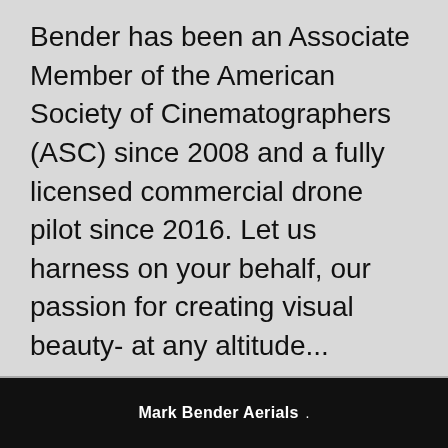Bender has been an Associate Member of the American Society of Cinematographers (ASC) since 2008 and a fully licensed commercial drone pilot since 2016. Let us harness on your behalf, our passion for creating visual beauty- at any altitude...
CLICK HERE FOR THE FULL STORY
Mark Bender Aerials .